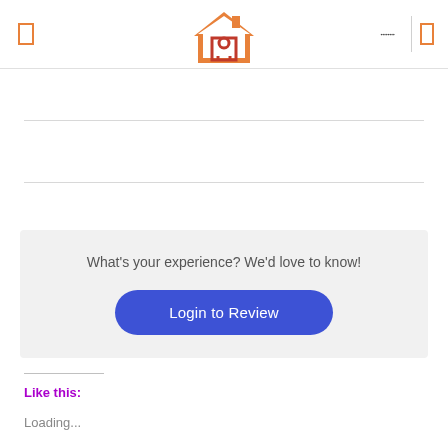[Figure (logo): House/real estate logo in orange, stylized house shape with A inside]
[Figure (screenshot): App navigation bar with hamburger menu left, house logo center, search and menu icons right]
What's your experience? We'd love to know!
Login to Review
Like this:
Loading...